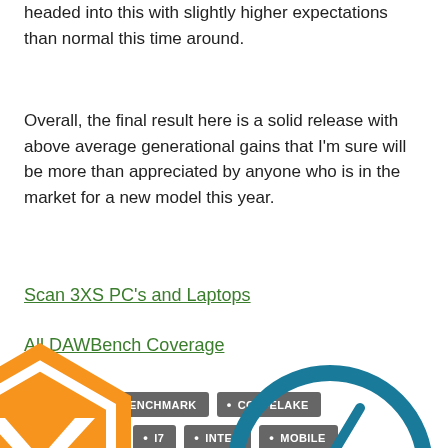headed into this with slightly higher expectations than normal this time around.
Overall, the final result here is a solid release with above average generational gains that I'm sure will be more than appreciated by anyone who is in the market for a new model this year.
Scan 3XS PC's and Laptops
All DAWBench Coverage
8750H
BENCHMARK
COFFELAKE
DAWBENCH
I7
INTEL
MOBILE
[Figure (logo): Orange hexagonal logo (partial, bottom-left) and teal circular logo (partial, bottom-right)]